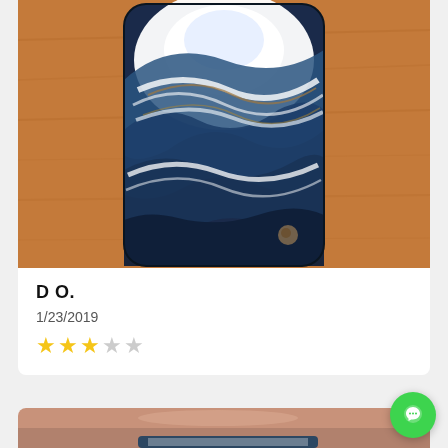[Figure (photo): Photo of a phone case with blue and white marble-like swirling pattern with gold/brown accents, placed on a wooden surface]
D O.
1/23/2019
[Figure (other): Star rating: 3 out of 5 stars (3 filled yellow stars, 2 empty stars)]
[Figure (photo): Partial photo at the bottom of the page showing what appears to be a phone case being held, partially visible]